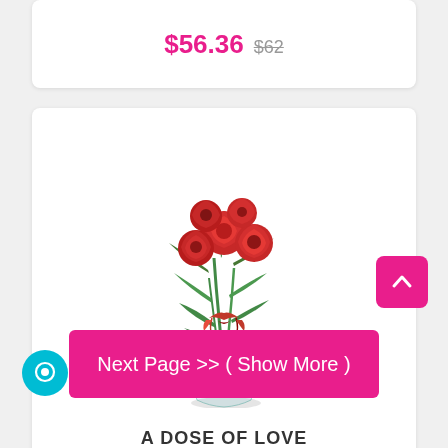$56.36  $62
[Figure (photo): Bouquet of red roses in a clear vase with green leaves and a ribbon, product photo for A DOSE OF LOVE]
A DOSE OF LOVE
$41.24  $45.36
Next Page >> ( Show More )